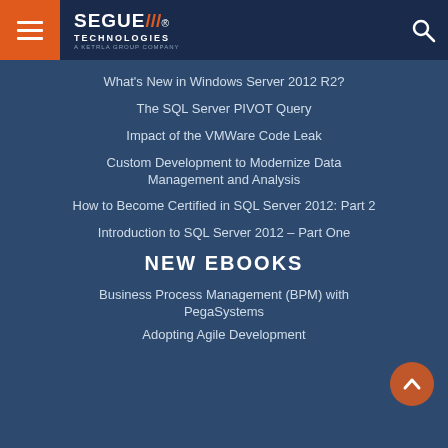[Figure (logo): Segue Technologies logo with orange menu button and search icon in dark navy header]
What's New in Windows Server 2012 R2?
The SQL Server PIVOT Query
Impact of the VMWare Code Leak
Custom Development to Modernize Data Management and Analysis
How to Become Certified in SQL Server 2012: Part 2
Introduction to SQL Server 2012 – Part One
NEW EBOOKS
Business Process Management (BPM) with PegaSystems
Adopting Agile Development